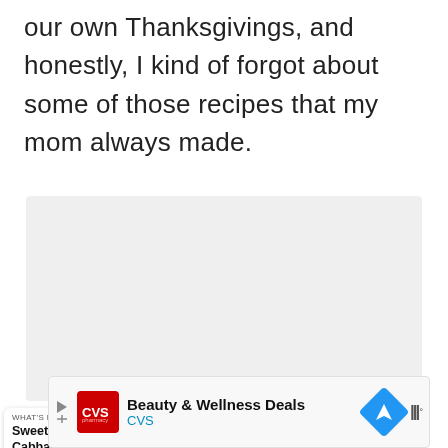our own Thanksgivings, and honestly, I kind of forgot about some of those recipes that my mom always made.
[Figure (photo): Large light gray placeholder image area with a heart/favorite button and a share button on the left side, and three navigation dots at the center bottom.]
WHAT'S NEXT → Sweet Carrot Cabbage an...
[Figure (photo): Small circular thumbnail showing a colorful food dish (Sweet Carrot Cabbage)]
Beauty & Wellness Deals CVS